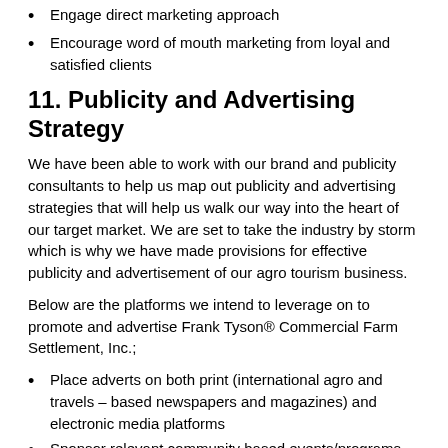Engage direct marketing approach
Encourage word of mouth marketing from loyal and satisfied clients
11. Publicity and Advertising Strategy
We have been able to work with our brand and publicity consultants to help us map out publicity and advertising strategies that will help us walk our way into the heart of our target market. We are set to take the industry by storm which is why we have made provisions for effective publicity and advertisement of our agro tourism business.
Below are the platforms we intend to leverage on to promote and advertise Frank Tyson® Commercial Farm Settlement, Inc.;
Place adverts on both print (international agro and travels – based newspapers and magazines) and electronic media platforms
Sponsor relevant community based events/programs
Leverage on the internet and social media platforms like;